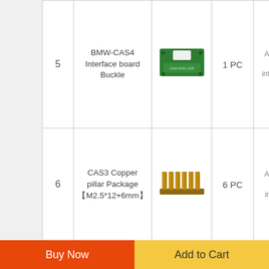| # | Name | Image | Qty | Note |
| --- | --- | --- | --- | --- |
| 5 | BMW-CAS4 Interface board Buckle | [PCB image] | 1 PC | Ap... inter... |
| 6 | CAS3 Copper pillar Package 【M2.5*12+6mm】 | [copper pillar image] | 6 PC | Ap... int... |
| 7 | CAS4 Copper pillar Package 【M2.5*12+6mm】 | [copper pillar image] | 6 PC | Ap... int... |
Scan OBDSVS QR code to order anywhere and anytime by mobile phone